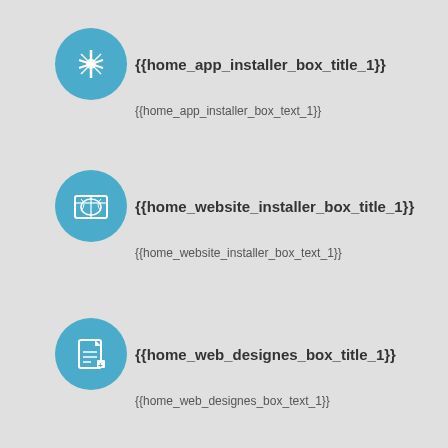[Figure (illustration): Blue circle icon with white swiss army knife/tools symbol]
{{home_app_installer_box_title_1}}
{{home_app_installer_box_text_1}}
[Figure (illustration): Blue circle icon with white world/globe map symbol]
{{home_website_installer_box_title_1}}
{{home_website_installer_box_text_1}}
[Figure (illustration): Blue circle icon with white document/design symbol]
{{home_web_designes_box_title_1}}
{{home_web_designes_box_text_1}}